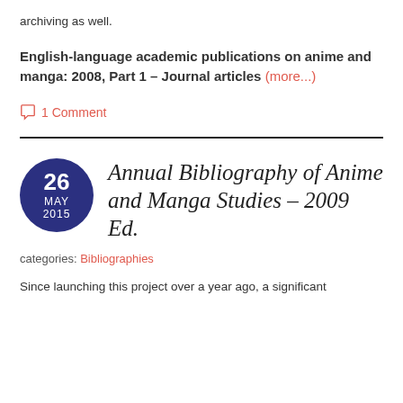archiving as well.
English-language academic publications on anime and manga: 2008, Part 1 – Journal articles (more...)
1 Comment
Annual Bibliography of Anime and Manga Studies – 2009 Ed.
categories: Bibliographies
Since launching this project over a year ago, a significant